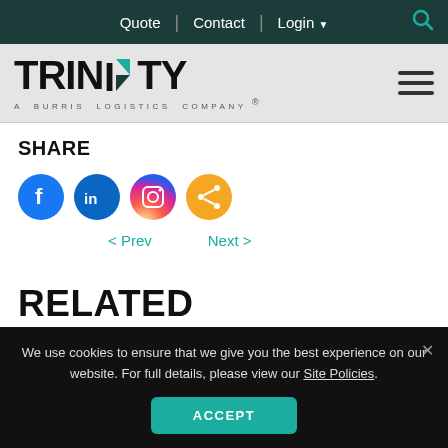Quote | Contact | Login
[Figure (logo): Trinity - A Burris Logistics Company logo with teal diamond accent on the N]
SHARE
[Figure (infographic): Social media share icons: Facebook, LinkedIn, Instagram, and a generic share button]
< Prev   Next >
RELATED RESOURCES
We use cookies to ensure that we give you the best experience on our website. For full details, please view our Site Policies.
ACCEPT